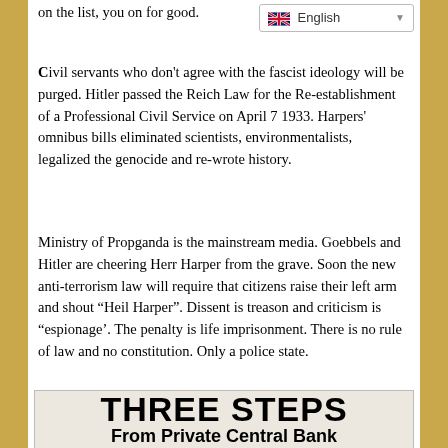on the list, you on for good.
[Figure (screenshot): English language selector dropdown with UK flag]
Civil servants who don’t agree with the fascist ideology will be purged. Hitler passed the Reich Law for the Re-establishment of a Professional Civil Service on April 7 1933. Harpers’ omnibus bills eliminated scientists, environmentalists, legalized the genocide and re-wrote history.
Ministry of Propganda is the mainstream media. Goebbels and Hitler are cheering Herr Harper from the grave. Soon the new anti-terrorism law will require that citizens raise their left arm and shout “Heil Harper”. Dissent is treason and criticism is “espionage’. The penalty is life imprisonment. There is no rule of law and no constitution. Only a police state.
[Figure (illustration): Image with bold text reading THREE STEPS and From Private Central Bank]